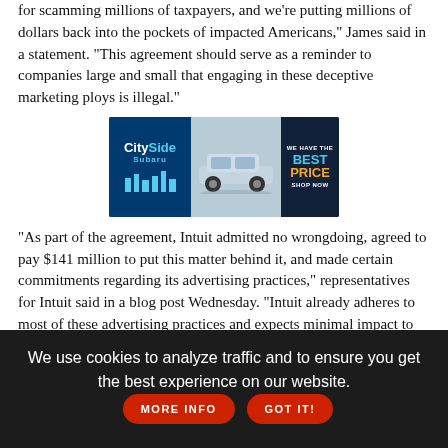for scamming millions of taxpayers, and we're putting millions of dollars back into the pockets of impacted Americans," James said in a statement. "This agreement should serve as a reminder to companies large and small that engaging in these deceptive marketing ploys is illegal."
[Figure (illustration): CitySide Subaru advertisement banner with logo, a light blue SUV, and 'WE HAVE THE BEST PRICE SHOP NOW' text on dark background]
"As part of the agreement, Intuit admitted no wrongdoing, agreed to pay $141 million to put this matter behind it, and made certain commitments regarding its advertising practices," representatives for Intuit said in a blog post Wednesday. "Intuit already adheres to most of these advertising practices and expects minimal impact to its business from implementing the remaining changes going forward."
[Figure (illustration): CELEBRATE SMALL TOWN BIG PRIDE advertisement banner with fireworks image]
We use cookies to analyze traffic and to ensure you get the best experience on our website.
MORE INFO | GOT IT!